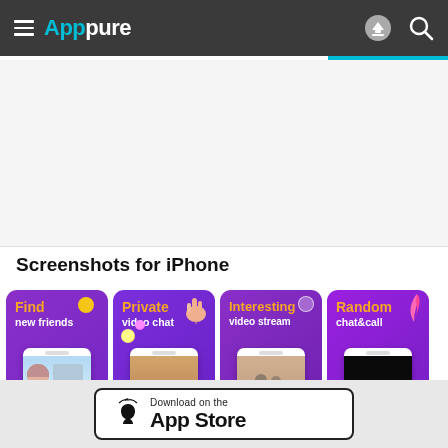Apppure
[Figure (screenshot): App store listing page for a video chat app on Apppure website. Shows screenshots for iPhone: 'Find new friends', 'Private video chat', 'Interesting video stream', 'Random chat&call' with purple gradient cards.]
Screenshots for iPhone
[Figure (screenshot): Download on the App Store button at the bottom of the page.]